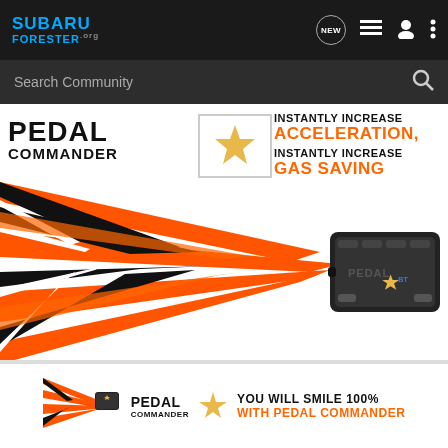SUBARU FORESTER.org | NEW | (icons)
Search Community
[Figure (infographic): Pedal Commander advertisement showing orange and black lightning bolt graphics converging on a Pedal Commander device, with text: PEDAL COMMANDER star logo, INSTANTLY INCREASE ACCELERATION, INSTANTLY INCREASE GAS SAVING]
[Figure (infographic): Smaller Pedal Commander advertisement showing orange graphic, device, PEDAL COMMANDER logo with star, YOU WILL SMILE 100% WITH PEDAL COMMANDER]